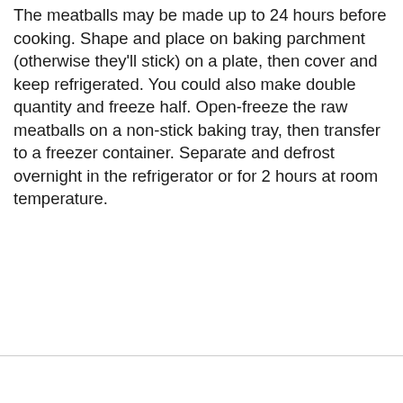The meatballs may be made up to 24 hours before cooking. Shape and place on baking parchment (otherwise they'll stick) on a plate, then cover and keep refrigerated. You could also make double quantity and freeze half. Open-freeze the raw meatballs on a non-stick baking tray, then transfer to a freezer container. Separate and defrost overnight in the refrigerator or for 2 hours at room temperature.